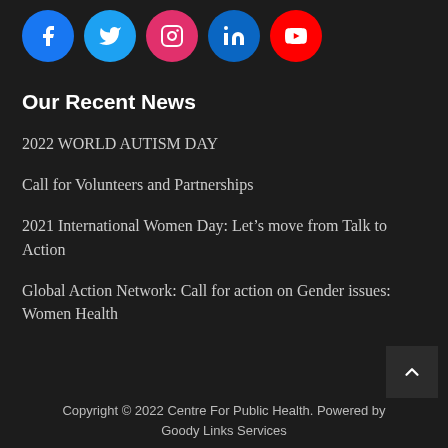[Figure (other): Row of five social media icons: Facebook (blue circle), Twitter (light blue circle), Instagram (pink/red circle), LinkedIn (dark blue circle), YouTube (red circle)]
Our Recent News
2022 WORLD AUTISM DAY
Call for Volunteers and Partnerships
2021 International Women Day: Let’s move from Talk to Action
Global Action Network: Call for action on Gender issues: Women Health
Copyright © 2022 Centre For Public Health. Powered by Goody Links Services